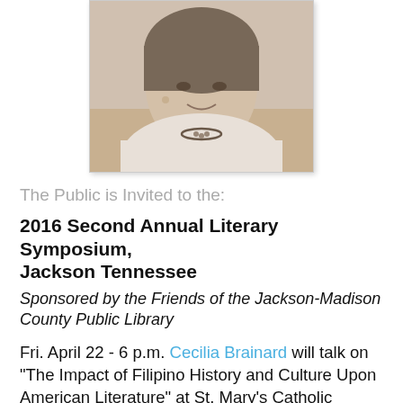[Figure (photo): Black and white portrait photograph of a smiling woman wearing a necklace, partially cropped at top]
The Public is Invited to the:
2016 Second Annual Literary Symposium, Jackson Tennessee
Sponsored by the Friends of the Jackson-Madison County Public Library
Fri. April 22 - 6 p.m. Cecilia Brainard will talk on "The Impact of Filipino History and Culture Upon American Literature" at St. Mary's Catholic Church, 1665